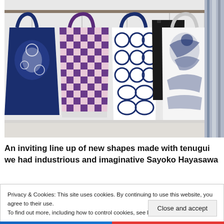[Figure (photo): Photo of several fabric tote bags with Japanese tenugui patterns (indigo blue floral, navy/white checker, black/white circles, navy on white crane motifs, navy illustrated items) hanging from a rod against a light background.]
An inviting line up of new shapes made with tenugui we had industrious and imaginative Sayoko Hayasawa
Privacy & Cookies: This site uses cookies. By continuing to use this website, you agree to their use.
To find out more, including how to control cookies, see here: Cookie Policy
Close and accept